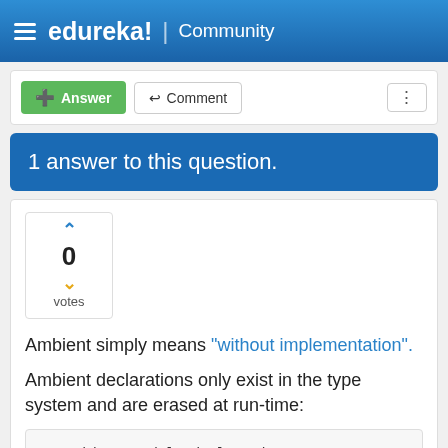edureka! | Community
[Figure (screenshot): Action bar with Answer and Comment buttons]
1 answer to this question.
Ambient simply means "without implementation".
Ambient declarations only exist in the type system and are erased at run-time:
// ambient module declaration
declare module "mymod" { /*... */ }